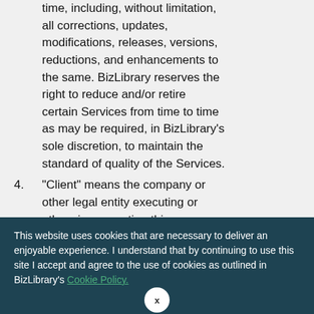time, including, without limitation, all corrections, updates, modifications, releases, versions, reductions, and enhancements to the same. BizLibrary reserves the right to reduce and/or retire certain Services from time to time as may be required, in BizLibrary's sole discretion, to maintain the standard of quality of the Services.
4. “Client” means the company or other legal entity executing or otherwise accepting this
This website uses cookies that are necessary to deliver an enjoyable experience. I understand that by continuing to use this site I accept and agree to the use of cookies as outlined in BizLibrary's Cookie Policy.